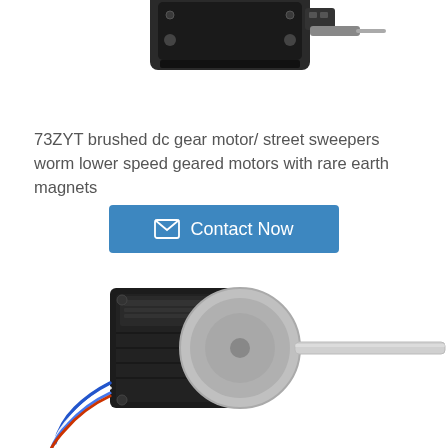[Figure (photo): Partial view of a brushed DC gear motor product, top portion visible at the top of the page]
73ZYT brushed dc gear motor/ street sweepers worm lower speed geared motors with rare earth magnets
[Figure (other): Contact Now button with envelope icon, blue background]
[Figure (photo): Stepper motor with blue wires attached to a linear actuator rod, lower portion of the page]